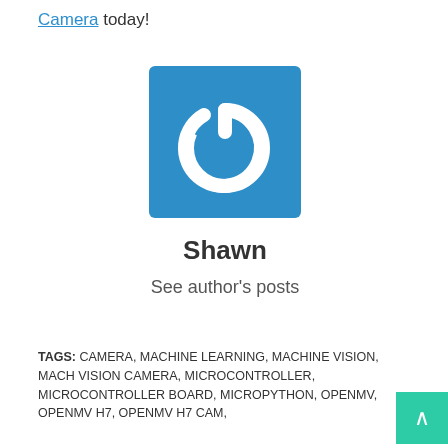Camera today!
[Figure (logo): Blue square with white power button icon (circle with gap at top and vertical line), resembling the OpenMV brand logo.]
Shawn
See author's posts
TAGS: CAMERA, MACHINE LEARNING, MACHINE VISION, MACHINE VISION CAMERA, MICROCONTROLLER, MICROCONTROLLER BOARD, MICROPYTHON, OPENMV, OPENMV H7, OPENMV H7 CAM,